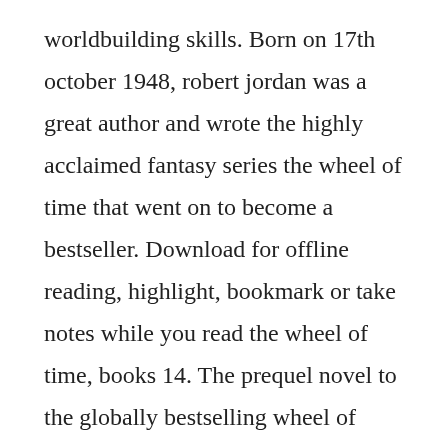worldbuilding skills. Born on 17th october 1948, robert jordan was a great author and wrote the highly acclaimed fantasy series the wheel of time that went on to become a bestseller. Download for offline reading, highlight, bookmark or take notes while you read the wheel of time, books 14. The prequel novel to the globally bestselling wheel of time series a fantasy phenomenon the city of canluum lies close to the scarred and desolate wastes of the blight, a walled haven from the dangers away to the north, and a refuge from the ill works of those who serve the. New